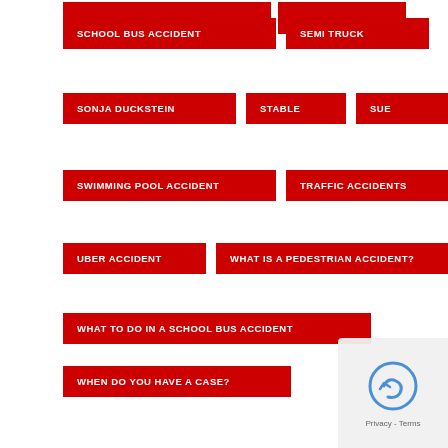SCHOOL BUS ACCIDENT
SEMI TRUCK
SONJA DUCKSTEIN
STABLE
SUE
SWIMMING POOL ACCIDENT
TRAFFIC ACCIDENTS
UBER ACCIDENT
WHAT IS A PEDESTRIAN ACCIDENT?
WHAT TO DO IN A SCHOOL BUS ACCIDENT
WHEN DO YOU HAVE A CASE?
WHEN SHOULD YOU HIRE A PEDESTRIAN ACCIDENT ATTORNEY?
WHEN SHOULD YOU SUE SOMEONE
WHO'S LIABLE IN A FATAL ACCIDENT?